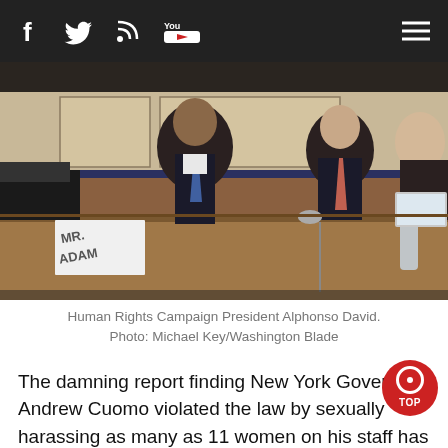Navigation bar with social icons: Facebook, Twitter, RSS, YouTube, and hamburger menu
[Figure (photo): Human Rights Campaign President Alphonso David seated at a hearing table with other people, in what appears to be a congressional hearing room with wood paneling. A name placard partially visible reads 'MR. ADAM'. A water bottle is on the table.]
Human Rights Campaign President Alphonso David. Photo: Michael Key/Washington Blade
The damning report finding New York Governor Andrew Cuomo violated the law by sexually harassing as many as 11 women on his staff has ensnared the president of the